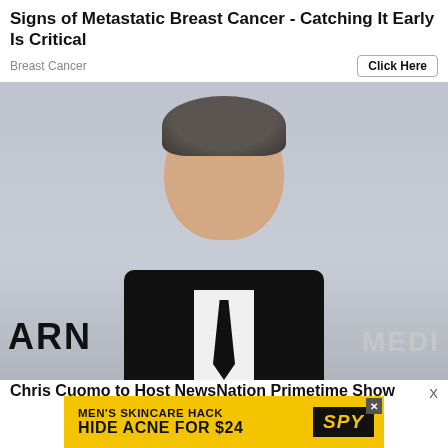Signs of Metastatic Breast Cancer - Catching It Early Is Critical
Breast Cancer
[Figure (photo): Man in black suit and tie smiling in front of WarnerMedia backdrop]
Chris Cuomo to Host NewsNation Primetime Show
[Figure (infographic): Advertisement banner: MEN'S SKINCARE HACK - HIDE ACNE FOR $24, with SPY logo]